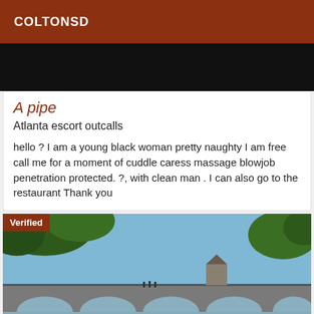COLTONSD
[Figure (photo): Dark/black banner image at top of listing]
A pipe
Atlanta escort outcalls
hello ? I am a young black woman pretty naughty I am free call me for a moment of cuddle caress massage blowjob penetration protected. ?, with clean man . I can also go to the restaurant Thank you
[Figure (photo): Outdoor photo showing a stone bridge with arches over a river, with trees and blue sky in the background. A 'Verified' badge is overlaid in the top-left corner.]